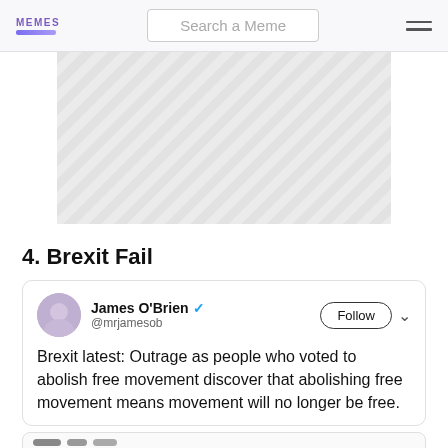MEMES | Search a Meme
[Figure (other): Advertisement placeholder with diagonal stripe pattern]
4. Brexit Fail
[Figure (screenshot): Tweet by James O'Brien (@mrjamesob): Brexit latest: Outrage as people who voted to abolish free movement discover that abolishing free movement means movement will no longer be free.]